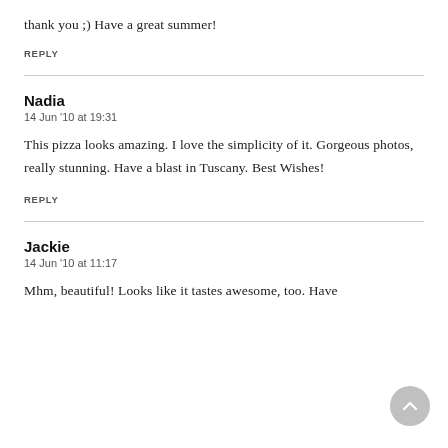thank you ;) Have a great summer!
REPLY
Nadia
14 Jun '10 at 19:31
This pizza looks amazing. I love the simplicity of it. Gorgeous photos, really stunning. Have a blast in Tuscany. Best Wishes!
REPLY
Jackie
14 Jun '10 at 11:17
Mhm, beautiful! Looks like it tastes awesome, too. Have